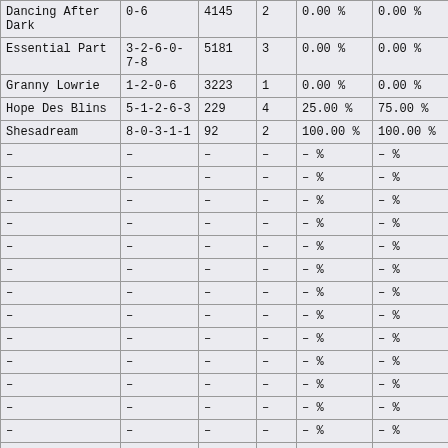| Dancing After Dark | 0-6 | 4145 | 2 | 0.00 % | 0.00 % |
| Essential Part | 3-2-6-0-7-8 | 5181 | 3 | 0.00 % | 0.00 % |
| Granny Lowrie | 1-2-0-6 | 3223 | 1 | 0.00 % | 0.00 % |
| Hope Des Blins | 5-1-2-6-3 | 229 | 4 | 25.00 % | 75.00 % |
| Shesadream | 8-0-3-1-1 | 92 | 2 | 100.00 % | 100.00 % |
| – | – | – | – | – % | – % |
| – | – | – | – | – % | – % |
| – | – | – | – | – % | – % |
| – | – | – | – | – % | – % |
| – | – | – | – | – % | – % |
| – | – | – | – | – % | – % |
| – | – | – | – | – % | – % |
| – | – | – | – | – % | – % |
| – | – | – | – | – % | – % |
| – | – | – | – | – % | – % |
| – | – | – | – | – % | – % |
| – | – | – | – | – % | – % |
| – | – | – | – | – % | – % |
| – | – | – | – | – % | – % |